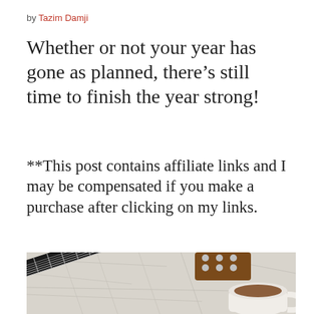by Tazim Damji
Whether or not your year has gone as planned, there’s still time to finish the year strong!
**This post contains affiliate links and I may be compensated if you make a purchase after clicking on my links.
[Figure (photo): Top-down flat lay photo showing a guitar neck/headstock on a crumpled light fabric, and a white cup of coffee in the lower right corner.]